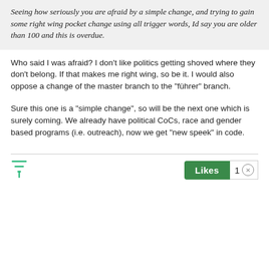Seeing how seriously you are afraid by a simple change, and trying to gain some right wing pocket change using all trigger words, Id say you are older than 100 and this is overdue.
Who said I was afraid? I don't like politics getting shoved where they don't belong. If that makes me right wing, so be it. I would also oppose a change of the master branch to the "führer" branch.
Sure this one is a "simple change", so will be the next one which is surely coming. We already have political CoCs, race and gender based programs (i.e. outreach), now we get "new speek" in code.
Likes 1